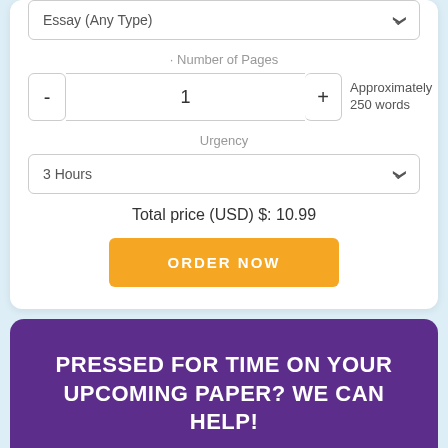Essay (Any Type)
Number of Pages
1
Approximately 250 words
Urgency
3 Hours
Total price (USD) $: 10.99
ORDER NOW
Pressed for time on your upcoming paper? We can help!
[Figure (illustration): Orange cartoon owl figure partially visible at the bottom of a purple card]